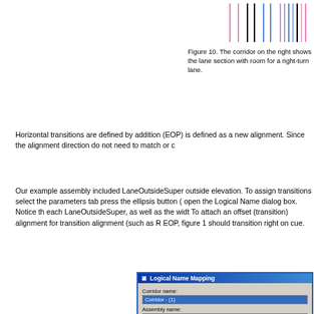[Figure (illustration): Top portion of a corridor diagram showing lane sections with vertical colored lines (pink, blue, black) representing lane boundaries and transitions for a right-turn lane.]
Figure 10. The corridor on the right shows the lane section with room for a right-turn lane.
Horizontal transitions are defined by addition (EOP) is defined as a new alignment. Since the alignment direction do not need to match or c
Our example assembly included LaneOutsideSuper outside elevation. To assign transitions select the parameters tab press the ellipsis button ( open the Logical Name dialog box. Notice that each LaneOutsideSuper, as well as the width To attach an offset (transition) alignment for t transition alignment (such as R EOP, figure 1 should transition right on cue.
[Figure (screenshot): Logical Name Mapping dialog box screenshot showing Corridor name: Corridor-(1), Assembly name: Assembly-(1), and a tree grid with Logical Name and Object Name columns. Surfaces section with TargetDTM entries mapped to BG. Alignments section with Width mapped to R EOP (circled in oval) and TargetHA_Alignment entry.]